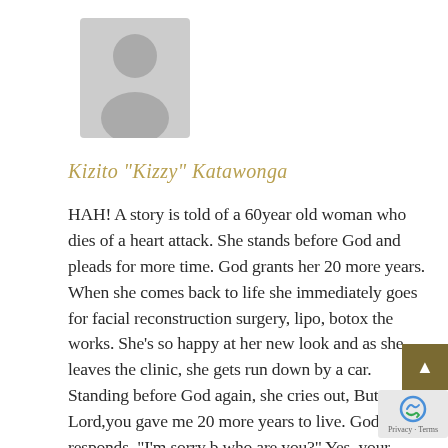[Figure (illustration): Generic grey silhouette avatar placeholder image showing a person icon (head and shoulders) on a light grey background.]
Kizito "Kizzy" Katawonga
HAH! A story is told of a 60year old woman who dies of a heart attack. She stands before God and pleads for more time. God grants her 20 more years. When she comes back to life she immediately goes for facial reconstruction surgery, lipo, botox the works. She's so happy at her new look and as she leaves the clinic, she gets run down by a car. Standing before God again, she cries out, But Lord,you gave me 20 more years to live. God responds, "I'm sorry b who are you?" Yes, your wisdom is well writt and well recieved.I for one aren't interested i being an illusion anymore. I am searching out